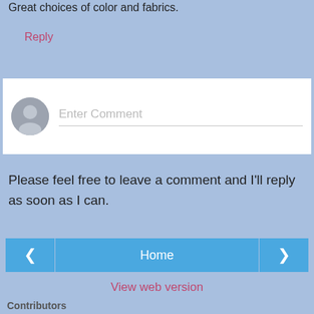Great choices of color and fabrics.
Reply
[Figure (other): Comment input box with user avatar placeholder and 'Enter Comment' placeholder text]
Please feel free to leave a comment and I'll reply as soon as I can.
[Figure (other): Navigation buttons: left arrow, Home button, right arrow]
View web version
Contributors
Louise
Sean
Powered by Blogger.